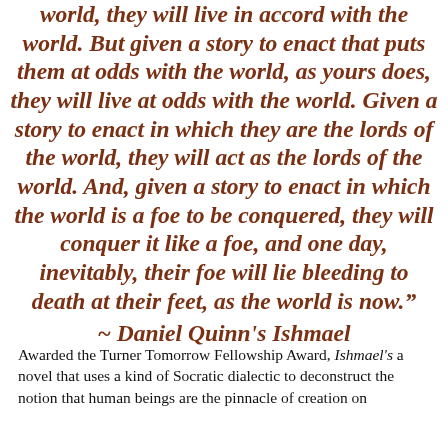world, they will live in accord with the world. But given a story to enact that puts them at odds with the world, as yours does, they will live at odds with the world. Given a story to enact in which they are the lords of the world, they will act as the lords of the world. And, given a story to enact in which the world is a foe to be conquered, they will conquer it like a foe, and one day, inevitably, their foe will lie bleeding to death at their feet, as the world is now." ~ Daniel Quinn's Ishmael
Awarded the Turner Tomorrow Fellowship Award, Ishmael's a novel that uses a kind of Socratic dialectic to deconstruct the notion that human beings are the pinnacle of creation on